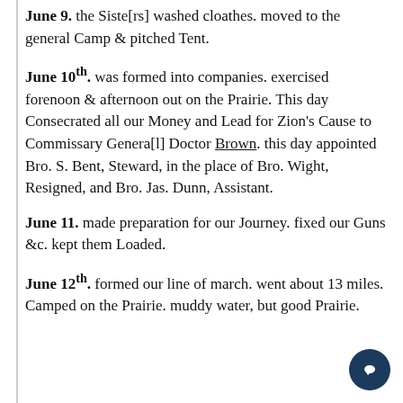June 9. the Siste[rs] washed cloathes. moved to the general Camp & pitched Tent.
June 10th. was formed into companies. exercised forenoon & afternoon out on the Prairie. This day Consecrated all our Money and Lead for Zion's Cause to Commissary Genera[l] Doctor Brown. this day appointed Bro. S. Bent, Steward, in the place of Bro. Wight, Resigned, and Bro. Jas. Dunn, Assistant.
June 11. made preparation for our Journey. fixed our Guns &c. kept them Loaded.
June 12th. formed our line of march. went about 13 miles. Camped on the Prairie. muddy water, but good Prairie.